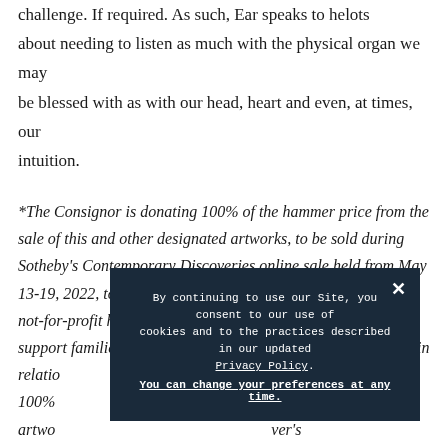challenge. If required. As such, Ear speaks to helots about needing to listen as much with the physical organ we may be blessed with as with our head, heart and even, at times, our intuition.
*The Consignor is donating 100% of the hammer price from the sale of this and other designated artworks, to be sold during Sotheby's Contemporary Discoveries online sale held from May 13-19, 2022, to the International Rescue Committee (IRC), a not-for-profit humanitarian aid organization that is helping to support families affected by the crisis in Ukraine. In addition, in relatio... (e 1) 100% ...artworks ...ver's
By continuing to use our Site, you consent to our use of cookies and to the practices described in our updated Privacy Policy. You can change your preferences at any time.